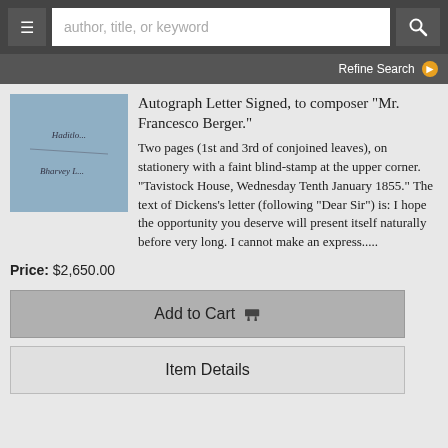author, title, or keyword | Refine Search
Autograph Letter Signed, to composer "Mr. Francesco Berger."
Two pages (1st and 3rd of conjoined leaves), on stationery with a faint blind-stamp at the upper corner. "Tavistock House, Wednesday Tenth January 1855." The text of Dickens's letter (following "Dear Sir") is: I hope the opportunity you deserve will present itself naturally before very long. I cannot make an express.....
Price: $2,650.00
Add to Cart
Item Details